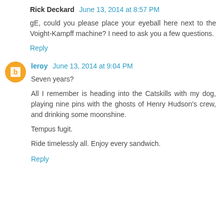Rick Deckard  June 13, 2014 at 8:57 PM
gE, could you please place your eyeball here next to the Voight-Kampff machine? I need to ask you a few questions.
Reply
leroy  June 13, 2014 at 9:04 PM
Seven years?
All I remember is heading into the Catskills with my dog, playing nine pins with the ghosts of Henry Hudson's crew, and drinking some moonshine.
Tempus fugit.
Ride timelessly all. Enjoy every sandwich.
Reply